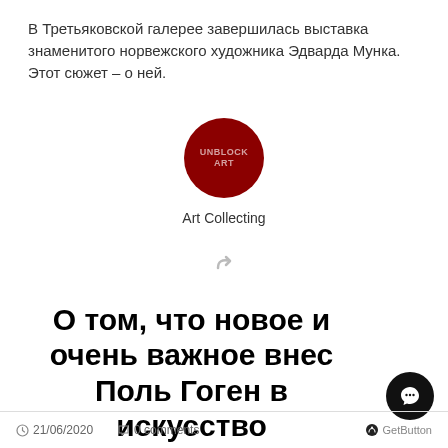В Третьяковской галерее завершилась выставка знаменитого норвежского художника Эдварда Мунка. Этот сюжет – о ней.
[Figure (logo): Dark red circle logo with text UNBLOCK ART, labelled Art Collecting below]
[Figure (other): Share/reply arrow icon in grey]
О том, что новое и очень важное внес Поль Гоген в искусство
21/06/2020   0 comments   GetButton